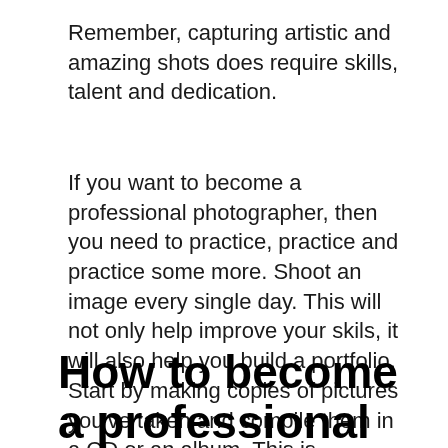Remember, capturing artistic and amazing shots does require skills, talent and dedication.
If you want to become a professional photographer, then you need to practice, practice and practice some more. Shoot an image every single day. This will not only help improve your skils, it will also help you build a portfolio. Start by making copies of pictures you've taken and compile them in a CD or an album. This is important in order to gain the trust of future clients. You need to provide proof that you can do the work well.
How to become a professional